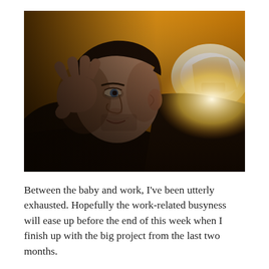[Figure (photo): A tired-looking young man with short dark hair and stubble rests his head on his hand. He is wearing a dark hoodie. The background shows a warm yellow-orange wall with a bright light source in the upper right. The photo has a moody, low-light aesthetic.]
Between the baby and work, I've been utterly exhausted. Hopefully the work-related busyness will ease up before the end of this week when I finish up with the big project from the last two months.